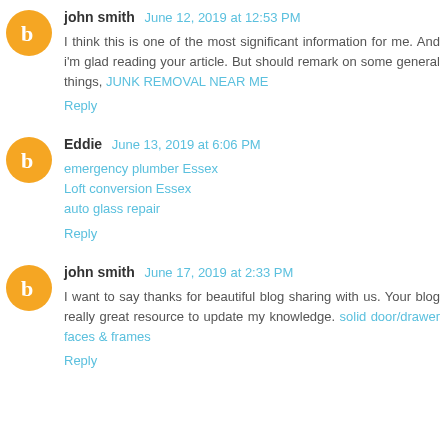john smith June 12, 2019 at 12:53 PM
I think this is one of the most significant information for me. And i'm glad reading your article. But should remark on some general things, JUNK REMOVAL NEAR ME
Reply
Eddie June 13, 2019 at 6:06 PM
emergency plumber Essex
Loft conversion Essex
auto glass repair
Reply
john smith June 17, 2019 at 2:33 PM
I want to say thanks for beautiful blog sharing with us. Your blog really great resource to update my knowledge. solid door/drawer faces & frames
Reply